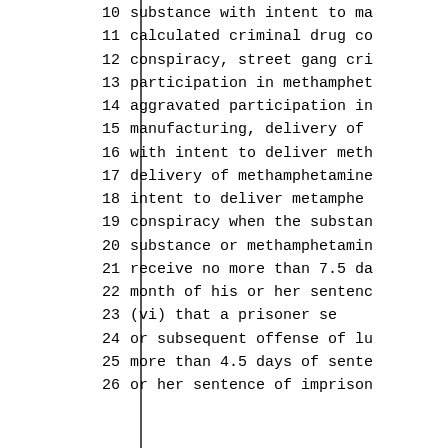10    substance with intent to ma
11    calculated criminal drug co
12    conspiracy, street gang cri
13    participation in methamphet
14    aggravated participation in
15    manufacturing, delivery of
16    with intent to deliver meth
17    delivery of methamphetamine
18    intent to deliver metamphe
19    conspiracy when the substan
20    substance or methamphetamin
21    receive no more than 7.5 da
22    month of his or her sentenc
23        (vi) that a prisoner se
24    or subsequent offense of lu
25    more than 4.5 days of sente
26    or her sentence of imprison